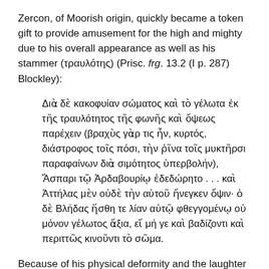Zercon, of Moorish origin, quickly became a token gift to provide amusement for the high and mighty due to his overall appearance as well as his stammer (τραυλότης) (Prisc. frg. 13.2 (I p. 287) Blockley):
Διὰ δὲ κακοφυίαν σώματος καὶ τὸ γέλωτα ἐκ τῆς τραυλότητος τῆς φωνῆς καὶ ὄψεως παρέχειν (βραχὺς γὰρ τις ἦν, κυρτός, διάστροφος τοῖς πόσι, τὴν ῥῖνα τοῖς μυκτῆρσι παραφαίνων διὰ σιμότητος ὑπερβολήν), Ἄσπαρι τῷ Ἀρδαβουρίῳ ἐδεδώρητο . . . καὶ Ἀττήλας μὲν οὐδὲ τὴν αὐτοῦ ἤνεγκεν ὄψιν· ὁ δὲ Βλήδας ἥσθη τε λίαν αὐτῷ φθεγγομένῳ οὐ μόνον γέλωτος ἄξια, εἴ μή γε καὶ βαδίζοντι καὶ περιττῶς κινοῦντι τὸ σῶμα.
Because of his physical deformity and the laughter which his stammering and his general appearance